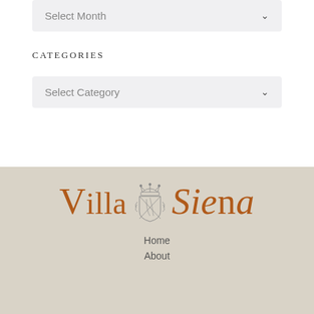[Figure (screenshot): Dropdown selector showing 'Select Month' with a chevron arrow, styled with light gray background]
CATEGORIES
[Figure (screenshot): Dropdown selector showing 'Select Category' with a chevron arrow, styled with light gray background]
[Figure (logo): Villa Siena logo with decorative crest emblem between the words, rendered in burnt orange/brown color on beige background]
Home
About